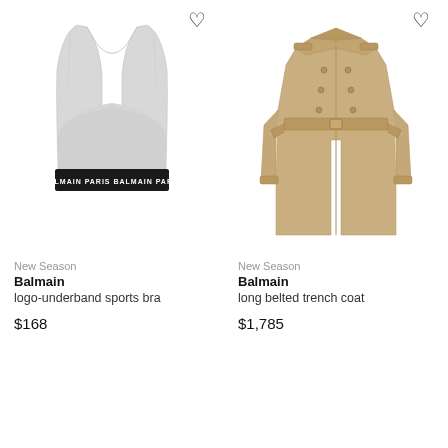[Figure (photo): Gray Balmain logo-underband sports bra with black elastic band printed with BALMAIN PARIS text]
New Season
Balmain
logo-underband sports bra
$168
[Figure (photo): Beige/tan Balmain long belted trench coat, full length, with lapels and belt tied at waist]
New Season
Balmain
long belted trench coat
$1,785